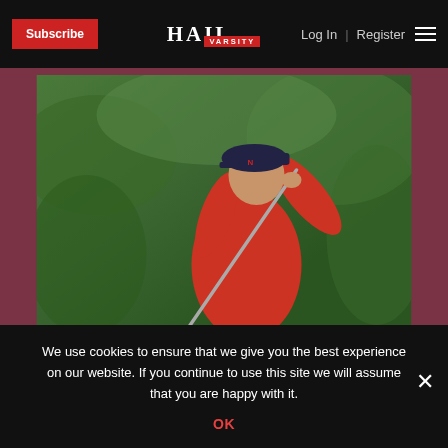Subscribe | HAIL VARSITY | Log In | Register
[Figure (photo): Golfer Vanessa Bouvet swinging a golf club, wearing a red outfit and dark cap, with green trees in the background]
Vanessa Bouvet Thriving in
We use cookies to ensure that we give you the best experience on our website. If you continue to use this site we will assume that you are happy with it.
OK